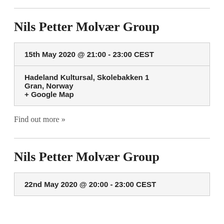Nils Petter Molvær Group
15th May 2020 @ 21:00 - 23:00 CEST
Hadeland Kultursal, Skolebakken 1
Gran, Norway
+ Google Map
Find out more »
Nils Petter Molvær Group
22nd May 2020 @ 20:00 - 23:00 CEST